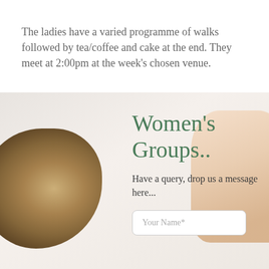The ladies have a varied programme of walks followed by tea/coffee and cake at the end. They meet at 2:00pm at the week's chosen venue.
Women's Groups..
Have a query, drop us a message here...
[Figure (screenshot): A form input field with placeholder text 'Your Name*' on a light background with decorative botanical and stone elements.]